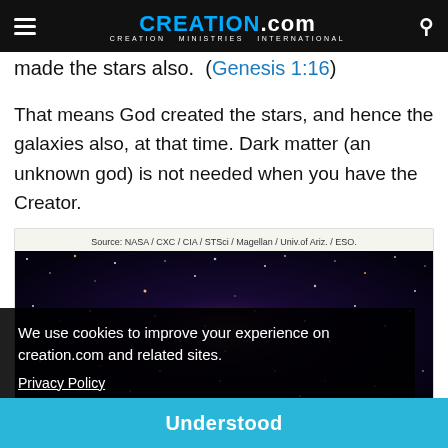CREATION.com — CREATION MINISTRIES INTERNATIONAL
made the stars also. (Genesis 1:16)
That means God created the stars, and hence the galaxies also, at that time. Dark matter (an unknown god) is not needed when you have the Creator.
Source: NASA / CXC / CIA / STSci / Magellan / Univ.of Ariz. / ESO.
[Figure (photo): Deep space galaxy photo showing stars and galaxies against a dark background]
We use cookies to improve your experience on creation.com and related sites.
Privacy Policy
Understood